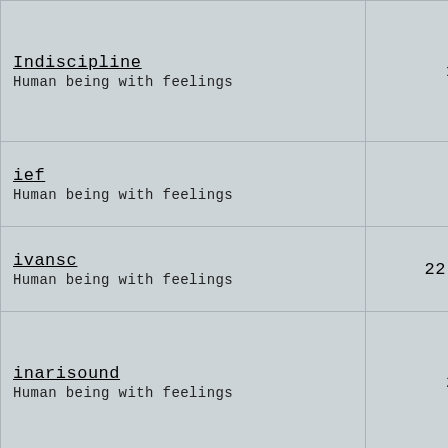| Name / Description | Value |
| --- | --- |
| Indiscipline
Human being with feelings | 128 |
| ief
Human being with feelings | 4 |
| ivansc
Human being with feelings | 22,55 |
| inarisound
Human being with feelings | 225 |
| Illusion
Human being with feelings | 13 |
| is3000dollar
Human being with feelings | 10 |
| ilarios
Human being with feelings | 20 |